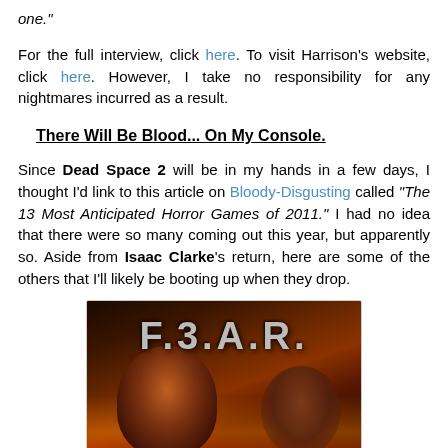one."
For the full interview, click here. To visit Harrison's website, click here. However, I take no responsibility for any nightmares incurred as a result.
There Will Be Blood... On My Console.
Since Dead Space 2 will be in my hands in a few days, I thought I'd link to this article on Bloody-Disgusting called "The 13 Most Anticipated Horror Games of 2011." I had no idea that there were so many coming out this year, but apparently so. Aside from Isaac Clarke's return, here are some of the others that I'll likely be booting up when they drop.
[Figure (photo): F.3.A.R. (F.E.A.R. 3) video game cover art showing horror characters with fire, the title displayed prominently at the top]